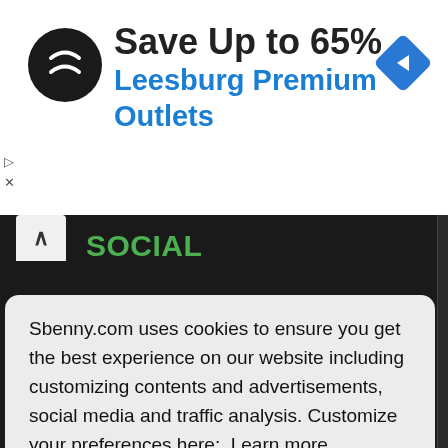[Figure (screenshot): Advertisement banner: circular black logo with double arrow symbol, text 'Save Up to 65% Leesburg Premium Outlets', blue diamond navigation arrow icon on right, small play and close controls on left]
SOCIAL
TOOLS
TRAVEL & LOCAL
Sbenny.com uses cookies to ensure you get the best experience on our website including customizing contents and advertisements, social media and traffic analysis. Customize your preferences here:  Learn more
Got it!